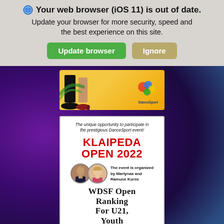🌐 Your web browser (iOS 11) is out of date. Update your browser for more security, speed and the best experience on this site.
Update browser | Ignore
[Figure (photo): DanceSport event advertisement banner showing dancing feet on a yellow/gold background with DanceSport logo]
[Figure (infographic): Klaipeda Open 2022 event promotional card. Text reads: The unique opportunity to participate in the prestigious DanceSport event! KLAIPEDA OPEN 2022. The event is organized by Martynas and Ramune Kuros. WDSF OPEN RANKING FOR U21, YOUTH AND JUNIOR. September 17th, 2022 Lithuania, Klaipeda. Logos of DanceSport, Lithuanian Dance Sport Federation, Klaipeda city, and another organization.]